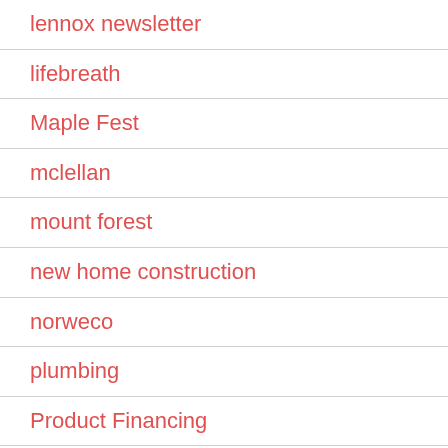lennox newsletter
lifebreath
Maple Fest
mclellan
mount forest
new home construction
norweco
plumbing
Product Financing
reliance
safety
septic
septic pumping